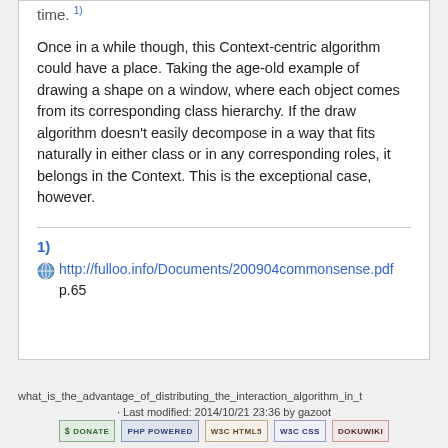time.
Once in a while though, this Context-centric algorithm could have a place. Taking the age-old example of drawing a shape on a window, where each object comes from its corresponding class hierarchy. If the draw algorithm doesn't easily decompose in a way that fits naturally in either class or in any corresponding roles, it belongs in the Context. This is the exceptional case, however.
1)
http://fulloo.info/Documents/200904commonsense.pdf
p.65
what_is_the_advantage_of_distributing_the_interaction_algorithm_in_t
· Last modified: 2014/10/21 23:36 by gazoot